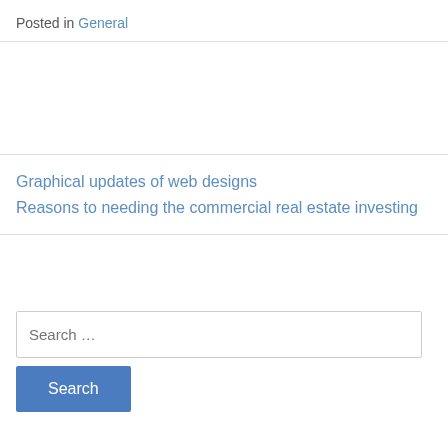Posted in General
Graphical updates of web designs
Reasons to needing the commercial real estate investing
Search …
Recent Posts